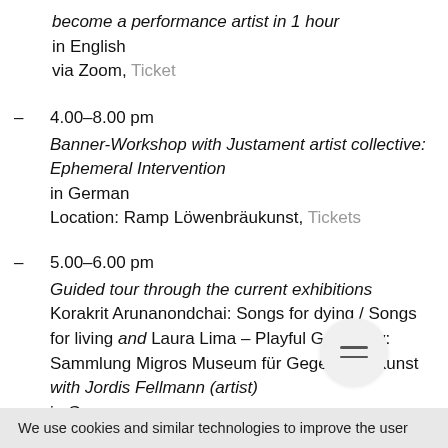become a performance artist in 1 hour
in English
via Zoom, Ticket
4.00–8.00 pm
Banner-Workshop with Justament artist collective: Ephemeral Intervention
in German
Location: Ramp Löwenbräukunst, Tickets
5.00–6.00 pm
Guided tour through the current exhibitions Korakrit Arunanondchai: Songs for dying / Songs for living and Laura Lima – Playful Geometry: Sammlung Migros Museum für Gegenwartskunst with Jordis Fellmann (artist)
in German
We use cookies and similar technologies to improve the user